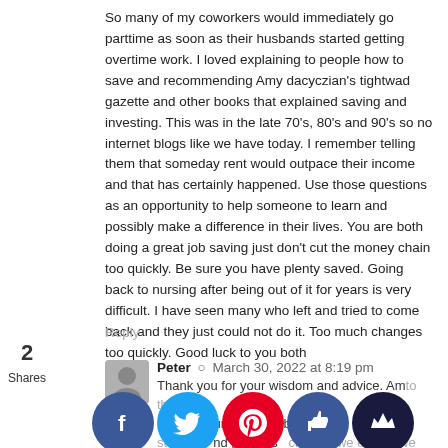So many of my coworkers would immediately go parttime as soon as their husbands started getting overtime work. I loved explaining to people how to save and recommending Amy dacyczian's tightwad gazette and other books that explained saving and investing. This was in the late 70's, 80's and 90's so no internet blogs like we have today. I remember telling them that someday rent would outpace their income and that has certainly happened. Use those questions as an opportunity to help someone to learn and possibly make a difference in their lives. You are both doing a great job saving just don't cut the money chain too quickly. Be sure you have plenty saved. Going back to nursing after being out of it for years is very difficult. I have seen many who left and tried to come back and they just could not do it. Too much changes too quickly. Good luck to you both
Reply
Peter · March 30, 2022 at 8:19 pm
Thank you for your wisdom and advice. Am to the small and bringing lunches of my starbucks and purchases as we even if we